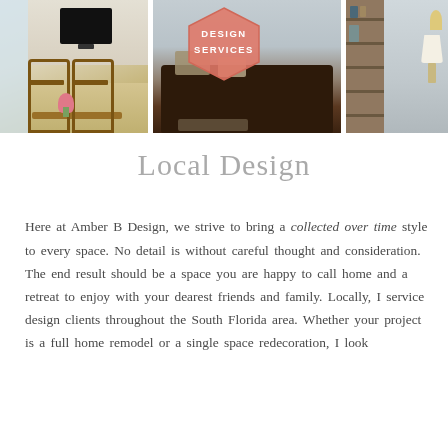[Figure (photo): Three-panel collage of interior home design photos showing a dining area with wooden chairs and table on the left, a living room with a dark brown sofa in the center, and a bookcase/shelving area on the right. A pink hexagonal badge reading 'DESIGN SERVICES' overlays the center top.]
Local Design
Here at Amber B Design, we strive to bring a collected over time style to every space. No detail is without careful thought and consideration. The end result should be a space you are happy to call home and a retreat to enjoy with your dearest friends and family. Locally, I service design clients throughout the South Florida area. Whether your project is a full home remodel or a single space redecoration, I look